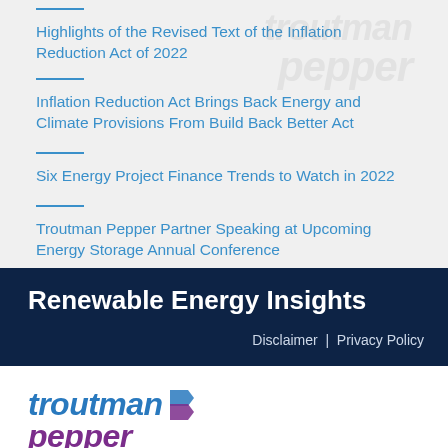Highlights of the Revised Text of the Inflation Reduction Act of 2022
Inflation Reduction Act Brings Back Energy and Climate Provisions From Build Back Better Act
Six Energy Project Finance Trends to Watch in 2022
Troutman Pepper Partner Speaking at Upcoming Energy Storage Annual Conference
Renewable Energy Insights
Disclaimer | Privacy Policy
[Figure (logo): Troutman Pepper law firm logo with blue 'troutman' and purple 'pepper' text in italic bold font with a stylized arrow/flag icon]